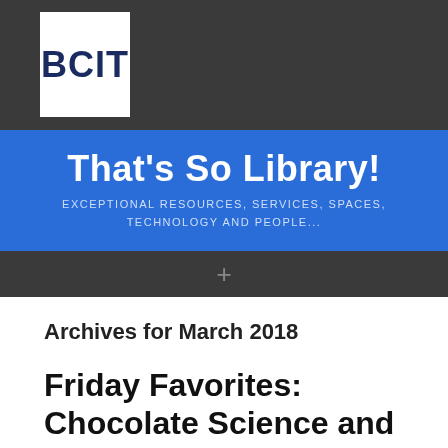[Figure (logo): BCIT logo — white rectangle with dark blue bold text 'BCIT' and TM mark, on dark grey background]
That's So Library!
EXCEPTIONAL RESOURCES, SERVICES, SPACES, TECHNOLOGY AND PEOPLE...
Archives for March 2018
Friday Favorites: Chocolate Science and Technology by Emmanuel Ohene Afoakwa